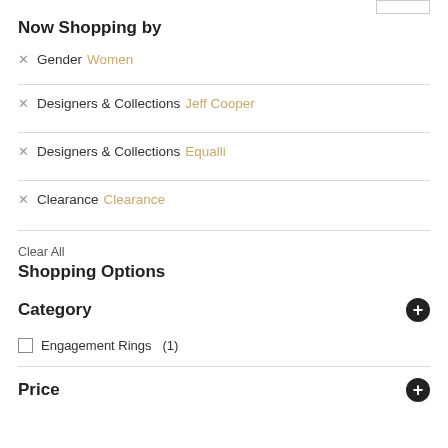Now Shopping by
× Gender Women
× Designers & Collections Jeff Cooper
× Designers & Collections Equalli
× Clearance Clearance
Clear All
Shopping Options
Category
Engagement Rings  (1)
Price